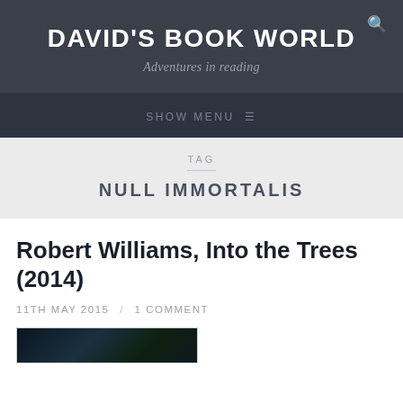DAVID'S BOOK WORLD
Adventures in reading
SHOW MENU
TAG
NULL IMMORTALIS
Robert Williams, Into the Trees (2014)
11TH MAY 2015 / 1 COMMENT
[Figure (photo): Book cover image at bottom of page, dark background]